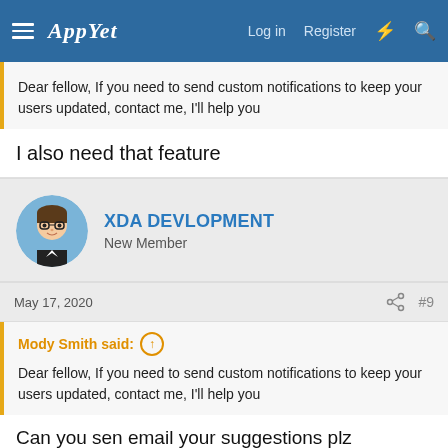AppYet  Log in  Register
Dear fellow, If you need to send custom notifications to keep your users updated, contact me, I'll help you
I also need that feature
XDA DEVLOPMENT
New Member
May 17, 2020  #9
Mody Smith said:
Dear fellow, If you need to send custom notifications to keep your users updated, contact me, I'll help you
Can you sen email your suggestions plz
zdeveloper1996@gmail.com